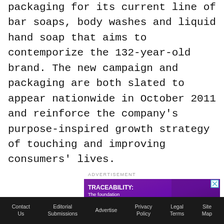packaging for its current line of bar soaps, body washes and liquid hand soap that aims to contemporize the 132-year-old brand. The new campaign and packaging are both slated to appear nationwide in October 2011 and reinforce the company's purpose-inspired growth strategy of touching and improving consumers' lives.
ADVERTISEMENT
[Figure (illustration): Advertisement banner showing a woman holding a product with text 'TRACEABILITY: The foundation of your optimized supply chain' and a green 'LEARN HOW' button on a purple background.]
Contact Us | Editorial Submissions | Advertise | Privacy Policy | Legal Terms | Site Map